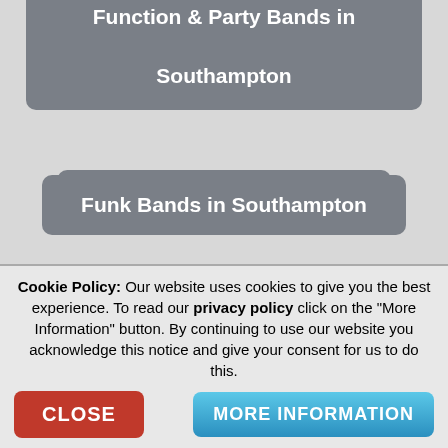Function & Party Bands in Southampton
Funk Bands in Southampton
Gypsy bands in Southampton
Heavy Metal Bands in Southampton
Hip-Hop Bands in Southampton
Cookie Policy: Our website uses cookies to give you the best experience. To read our privacy policy click on the "More Information" button. By continuing to use our website you acknowledge this notice and give your consent for us to do this.
CLOSE
MORE INFORMATION